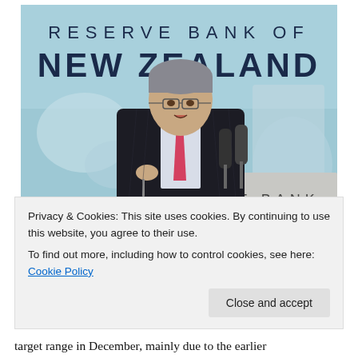[Figure (photo): A man in a dark pinstripe suit with a pink tie speaks at a podium labeled 'RESERVE BANK'. Behind him is a large sign reading 'RESERVE BANK OF NEW ZEALAND' with a map background in blue and teal tones.]
Privacy & Cookies: This site uses cookies. By continuing to use this website, you agree to their use.
To find out more, including how to control cookies, see here: Cookie Policy
target range in December, mainly due to the earlier